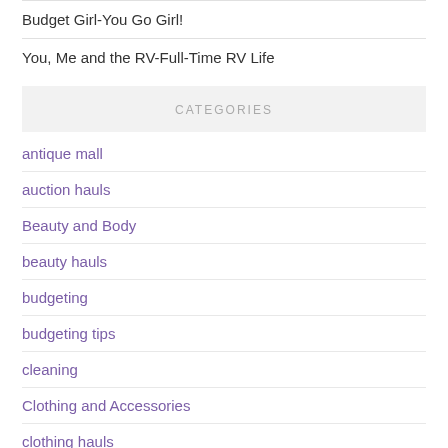Budget Girl-You Go Girl!
You, Me and the RV-Full-Time RV Life
CATEGORIES
antique mall
auction hauls
Beauty and Body
beauty hauls
budgeting
budgeting tips
cleaning
Clothing and Accessories
clothing hauls